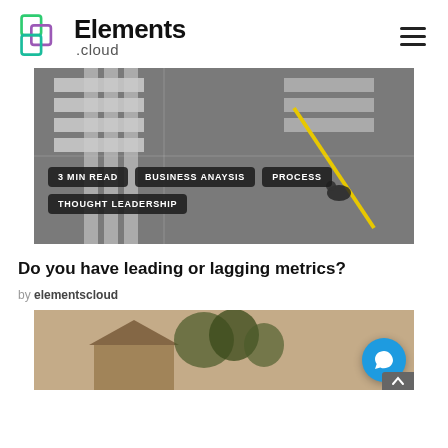Elements .cloud
[Figure (photo): Aerial view of a road intersection with zebra crossings and a cyclist on a yellow lane. Overlaid with tags: 3 MIN READ, BUSINESS ANAYSIS, PROCESS, THOUGHT LEADERSHIP]
Do you have leading or lagging metrics?
by elementscloud
[Figure (photo): Sepia-toned photo of a house with trees, partially visible at the bottom of the page]